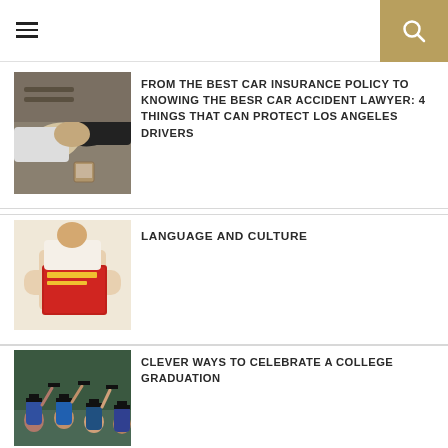[Figure (other): Hamburger menu icon and search button in gold box]
FROM THE BEST CAR INSURANCE POLICY TO KNOWING THE BESR CAR ACCIDENT LAWYER: 4 THINGS THAT CAN PROTECT LOS ANGELES DRIVERS
LANGUAGE AND CULTURE
CLEVER WAYS TO CELEBRATE A COLLEGE GRADUATION